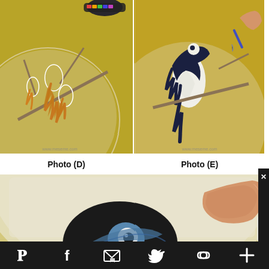[Figure (photo): Close-up of artwork in progress: illustrated birds with orange/brown feathers on branches against a golden-yellow background, with a paint palette visible at top.]
Photo (D)
[Figure (photo): Close-up of artwork showing a black and white magpie-like bird being painted on a golden-yellow background, with an artist's hand holding a brush visible.]
Photo (E)
[Figure (photo): Close-up of artwork in progress showing a bird's head with blue and black feathers being painted, with artist's thumb visible pressing on the canvas.]
Pinterest | Facebook | Email | Twitter | Link | Plus